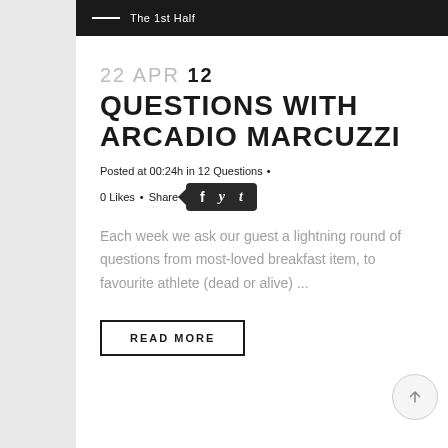The 1st Half
22 APR 12 QUESTIONS WITH ARCADIO MARCUZZI
Posted at 00:24h in 12 Questions • 0 Likes • Share
Each week we ask our guest a lightning round of questions from most-loved breakfast item, to favourite athlete (dead or alive) ...
READ MORE